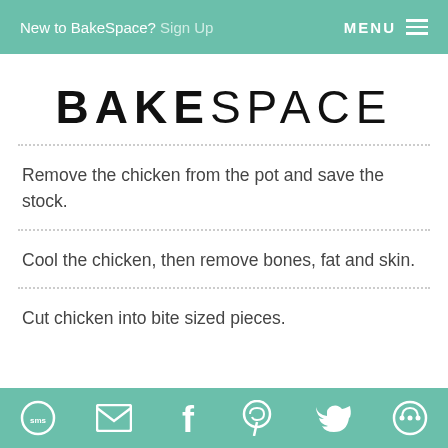New to BakeSpace? Sign Up   MENU
BAKESPACE
Remove the chicken from the pot and save the stock.
Cool the chicken, then remove bones, fat and skin.
Cut chicken into bite sized pieces.
SMS  Email  Facebook  Pinterest  Twitter  Other